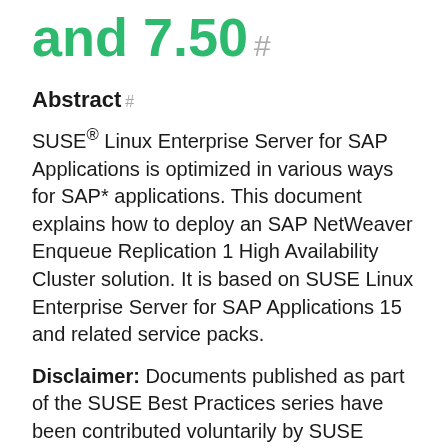and 7.50 #
Abstract #
SUSE® Linux Enterprise Server for SAP Applications is optimized in various ways for SAP* applications. This document explains how to deploy an SAP NetWeaver Enqueue Replication 1 High Availability Cluster solution. It is based on SUSE Linux Enterprise Server for SAP Applications 15 and related service packs.
Disclaimer: Documents published as part of the SUSE Best Practices series have been contributed voluntarily by SUSE employees and third parties. They are meant to serve as examples of how particular actions can be